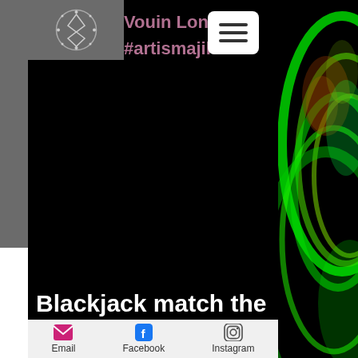Vovin Lonshin
#artismajik
[Figure (illustration): Fractal swirling green and black art on the right side panel]
[Figure (logo): Circular logo with geometric star/diamond shape on gray background]
Blackjack match the
Email  Facebook  Instagram